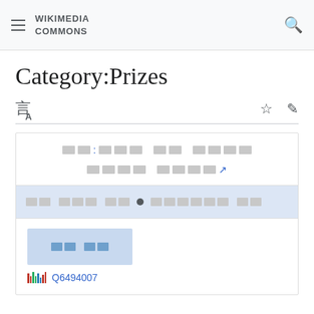Wikimedia Commons
Category:Prizes
[Figure (screenshot): Wikimedia Commons Category:Prizes page showing a Wikidata infobox with Korean text, tabs, a blue thumbnail placeholder, and a barcode icon with Q6494007 identifier]
Q6494007